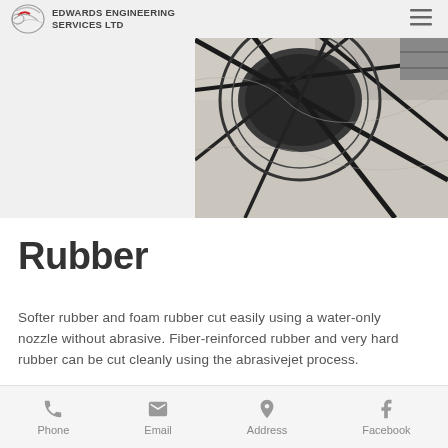Edwards Engineering Services Ltd
[Figure (photo): Photo of decorative marble/stone floor with circular black inlay and geometric black stripe patterns]
Rubber
Softer rubber and foam rubber cut easily using a water-only nozzle without abrasive. Fiber-reinforced rubber and very hard rubber can be cut cleanly using the abrasivejet process.
Phone | Email | Address | Facebook